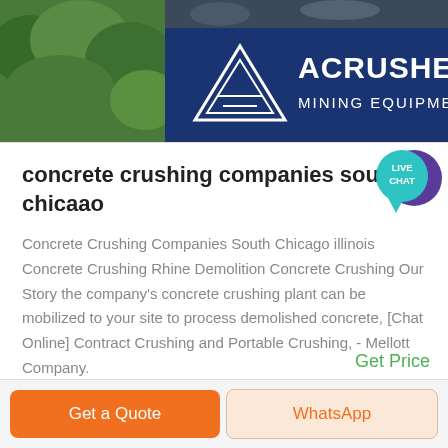[Figure (logo): ACRUSHER MINING EQUIPMENT banner with triangle/pyramid logo on dark blue background, left side shows green foliage photo]
[Figure (infographic): Live Chat speech bubble icon in teal/cyan color]
concrete crushing companies south chicaao
Concrete Crushing Companies South Chicago illinois Concrete Crushing Rhine Demolition Concrete Crushing Our Story the company's concrete crushing plant can be mobilized to your site to process demolished concrete, [Chat Online] Contract Crushing and Portable Crushing, - Mellott Company.
Get Price
Get a Quote
WhatsApp